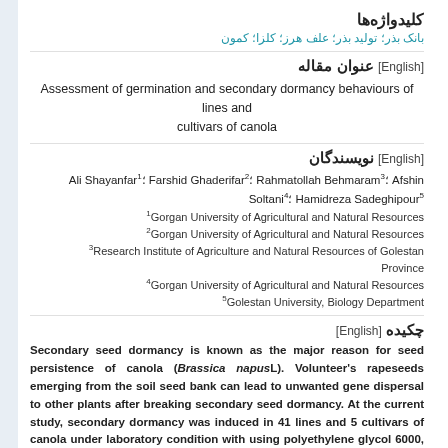کلیدواژه‌ها
بانک بذر؛ تولید بذر؛ علف هرز؛ کلزا؛ کمون
عنوان مقاله [English]
Assessment of germination and secondary dormancy behaviours of lines and cultivars of canola
نویسندگان [English]
Ali Shayanfar1; Farshid Ghaderifar2; Rahmatollah Behmaram3; Afshin Soltani4; Hamidreza Sadeghipour5
1Gorgan University of Agricultural and Natural Resources
2Gorgan University of Agricultural and Natural Resources
3Research Institute of Agriculture and Natural Resources of Golestan Province
4Gorgan University of Agricultural and Natural Resources
5Golestan University, Biology Department
چکیده [English]
Secondary seed dormancy is known as the major reason for seed persistence of canola (Brassica napusL). Volunteer's rapeseeds emerging from the soil seed bank can lead to unwanted gene dispersal to other plants after breaking secondary seed dormancy. At the current study, secondary dormancy was induced in 41 lines and 5 cultivars of canola under laboratory condition with using polyethylene glycol 6000, during 14 days and secondary seed dormancy recorded. This study was conducted as a randomized complete design. High germination